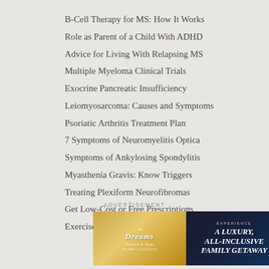B-Cell Therapy for MS: How It Works
Role as Parent of a Child With ADHD
Advice for Living With Relapsing MS
Multiple Myeloma Clinical Trials
Exocrine Pancreatic Insufficiency
Leiomyosarcoma: Causes and Symptoms
Psoriatic Arthritis Treatment Plan
7 Symptoms of Neuromyelitis Optica
Symptoms of Ankylosing Spondylitis
Myasthenia Gravis: Know Triggers
Treating Plexiform Neurofibromas
Get Low-Cost or Free Prescriptions
Exercises to Help With RA
ADVERTISEMENT
[Figure (other): Dreams Resorts & Spas advertisement banner with luxury all-inclusive family getaway offer and Book Now button]